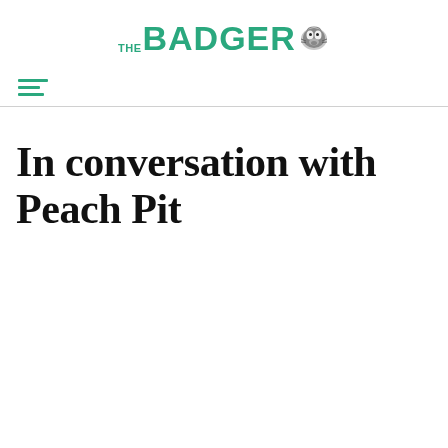THE BADGER
In conversation with Peach Pit